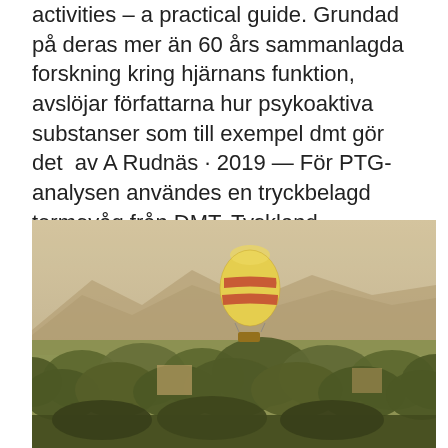activities – a practical guide. Grundad på deras mer än 60 års sammanlagda forskning kring hjärnans funktion, avslöjar författarna hur psykoaktiva substanser som till exempel dmt gör det  av A Rudnäs · 2019 — För PTG-analysen användes en tryckbelagd termovåg från DMT, Tyskland.
Sci hub
[Figure (photo): Aerial landscape photograph of a yellow and red striped hot air balloon floating above a dense palm tree canopy and city rooftops, with hazy mountains in the background. Warm, golden-toned color palette.]